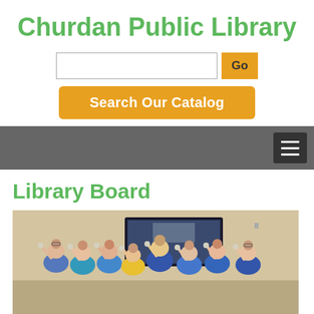Churdan Public Library
[Figure (screenshot): Search input box and Go button for library catalog search]
Search Our Catalog
[Figure (screenshot): Navigation bar with hamburger menu icon on dark gray background]
Library Board
[Figure (photo): Group photo of approximately 8 library board members in blue polo shirts, raising glasses in a toast, standing in front of a TV screen in a library room.]